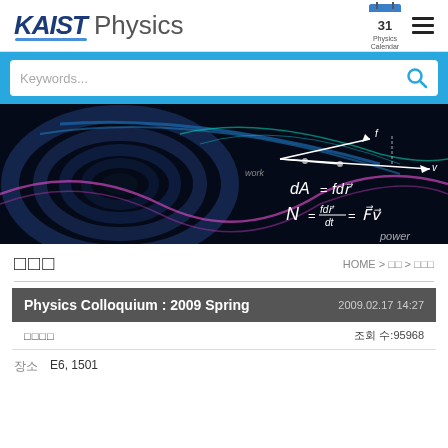[Figure (logo): KAIST Physics department logo with blue italic KAIST text and Physics in gray]
[Figure (infographic): Calendar icon showing 31 with Physics Calendar label]
[Figure (infographic): Hamburger menu icon (three horizontal lines)]
[Figure (photo): Physics banner image showing colorful energy waves and physics equations dA=fdr, N=fdr/dt=Fv with power label on dark background]
□□□
HOME > □□ > □□□
| Physics Colloquium : 2009 Spring | 2009.02.17 14:27 |
| --- | --- |
| □□□□ | 조회 수:95968 |
장소    E6, 1501